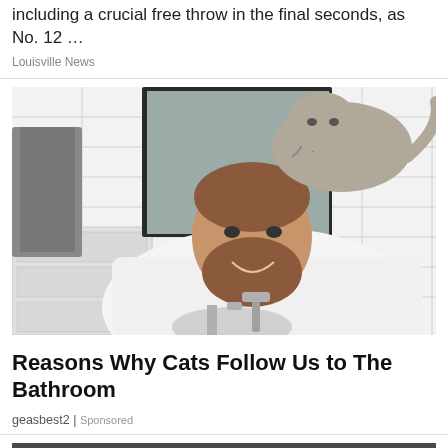including a crucial free throw in the final seconds, as No. 12 …
Louisville News
[Figure (photo): A man with a beard wearing a white t-shirt leaning over a bathroom sink while a tabby cat stands on his back/shoulders. A mirror and grey towel are visible in the background. White subway tile walls.]
Reasons Why Cats Follow Us to The Bathroom
geasbest2 | Sponsored
[Figure (photo): Partial view of a dark rocky or natural outdoor scene, bottom of page, cropped.]